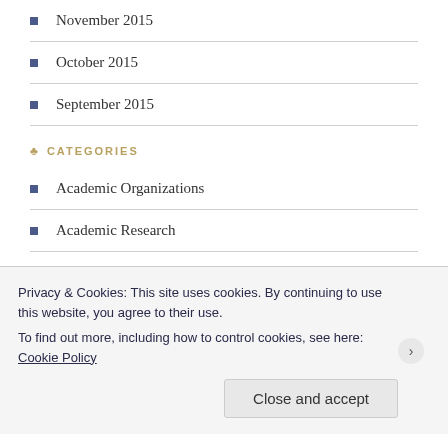November 2015
October 2015
September 2015
CATEGORIES
Academic Organizations
Academic Research
Antitrust
Auction
Austria
Cartel
Privacy & Cookies: This site uses cookies. By continuing to use this website, you agree to their use. To find out more, including how to control cookies, see here: Cookie Policy
Close and accept